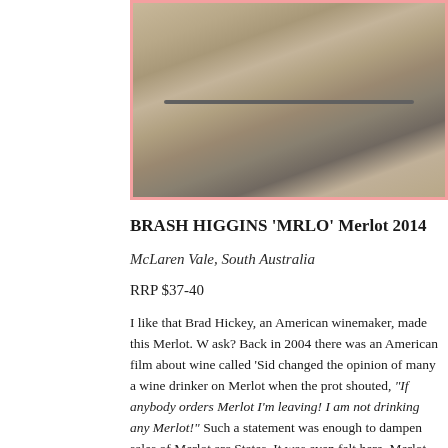[Figure (photo): Photograph of wooden wine barrel surface or wood planking with grain and lines visible, framed with a pink border.]
BRASH HIGGINS 'MRLO' Merlot 2014
McLaren Vale, South Australia
RRP $37-40
I like that Brad Hickey, an American winemaker, made this Merlot. W ask? Back in 2004 there was an American film about wine called 'Sid changed the opinion of many a wine drinker on Merlot when the prot shouted, "If anybody orders Merlot I'm leaving! I am not drinking any Merlot!" Such a statement was enough to dampen sales of Merlot arc States. It was even felt here. Merlot became daggy to the industry and humble comfort wine for those who chose not to care. So to have Mr a great example of the Merlot grape under his Brash Higgins label an down the daggy barrier sort of makes this come full circle. Merlot is h